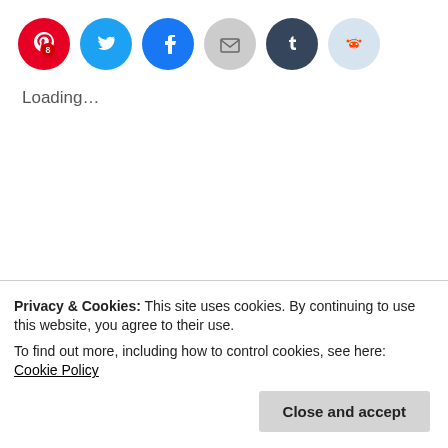[Figure (other): Row of social sharing buttons: Pinterest (with badge 8), Twitter, Facebook, Email, Tumblr, Reddit]
Loading...
MOTD | No Foundation Summer Makeup
Privacy & Cookies: This site uses cookies. By continuing to use this website, you agree to their use.
To find out more, including how to control cookies, see here: Cookie Policy
Close and accept